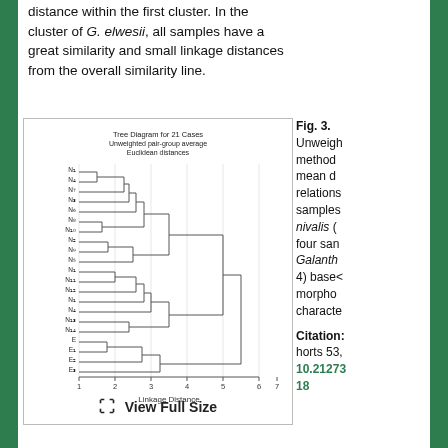distance within the first cluster. In the cluster of G. elwesii, all samples have a great similarity and small linkage distances from the overall similarity line.
[Figure (other): Tree Diagram for 21 Cases - Unweighted pair-group average, Euclidean distances. Dendrogram showing hierarchical clustering of samples N1-N17 and E1-E4 along a Linkage Distance axis from 1 to 7.]
Fig. 3. Unweighted pair-group average method (UPGMA) using arithmetic mean distances, showing the relationships among samples of G. nivalis (N) and four samples of Galanthus (4) based on morphological characters.
Citation: horts 53, 10.21273 18
View Full Size